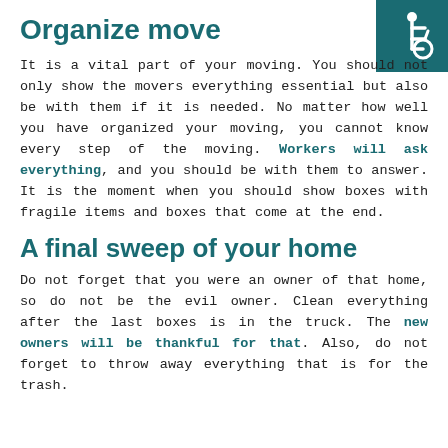Organize move
[Figure (illustration): Wheelchair accessibility icon, white symbol on dark teal square background, positioned top right corner]
It is a vital part of your moving. You should not only show the movers everything essential but also be with them if it is needed. No matter how well you have organized your moving, you cannot know every step of the moving. Workers will ask everything, and you should be with them to answer. It is the moment when you should show boxes with fragile items and boxes that come at the end.
A final sweep of your home
Do not forget that you were an owner of that home, so do not be the evil owner. Clean everything after the last boxes is in the truck. The new owners will be thankful for that. Also, do not forget to throw away everything that is for the trash.